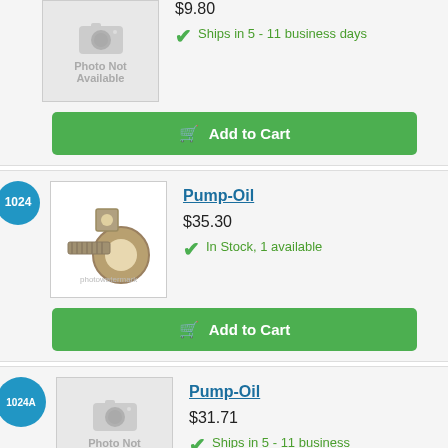$9.80
Ships in 5 - 11 business days
Add to Cart
1024
Pump-Oil
$35.30
In Stock, 1 available
Add to Cart
1024A
Pump-Oil
$31.71
Ships in 5 - 11 business days